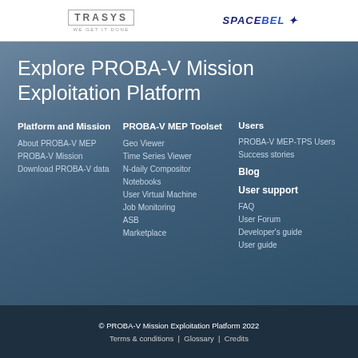[Figure (logo): TRASYS logo with tagline 'WE GET IT DONE' and SpaceBel logo]
Explore PROBA-V Mission Exploitation Platform
Platform and Mission
About PROBA-V MEP
PROBA-V Mission
Download PROBA-V data
PROBA-V MEP Toolset
Geo Viewer
Time Series Viewer
N-daily Compositor
Notebooks
User Virtual Machine
Job Monitoring
ASB
Marketplace
Users
PROBA-V MEP-TPS Users
Success stories
Blog
User support
FAQ
User Forum
Developer's guide
User guide
© PROBA-V Mission Exploitation Platform 2022  Terms & conditions |  Glossary |  Credits